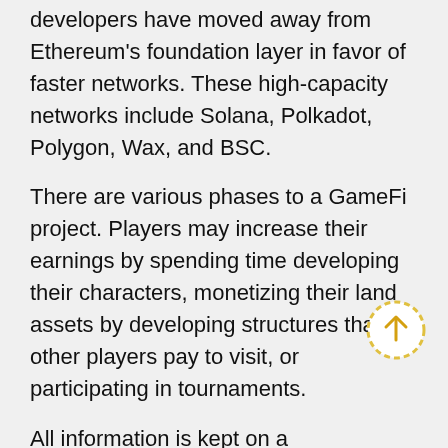developers have moved away from Ethereum's foundation layer in favor of faster networks. These high-capacity networks include Solana, Polkadot, Polygon, Wax, and BSC.
There are various phases to a GameFi project. Players may increase their earnings by spending time developing their characters, monetizing their land assets by developing structures that other players pay to visit, or participating in tournaments.
All information is kept on a decentralized public blockchain, which keeps track of who owns what. This means that the game's assets belong to the players, not the designers.
Even if a server is down or the gaming company is having technical issues, you maintain ownership of any in-game item you win as a player. As a result,